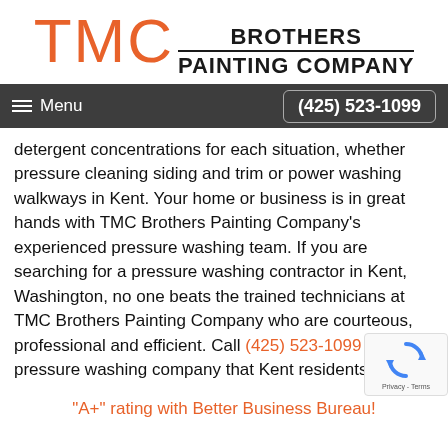[Figure (logo): TMC Brothers Painting Company logo with orange TMC letters and black BROTHERS / PAINTING COMPANY text]
Menu   (425) 523-1099
detergent concentrations for each situation, whether pressure cleaning siding and trim or power washing walkways in Kent. Your home or business is in great hands with TMC Brothers Painting Company's experienced pressure washing team. If you are searching for a pressure washing contractor in Kent, Washington, no one beats the trained technicians at TMC Brothers Painting Company who are courteous, professional and efficient. Call (425) 523-1099 for the pressure washing company that Kent residents trust.
"A+" rating with Better Business Bureau!
[Figure (other): reCAPTCHA widget showing recycling arrows icon with Privacy - Terms text]